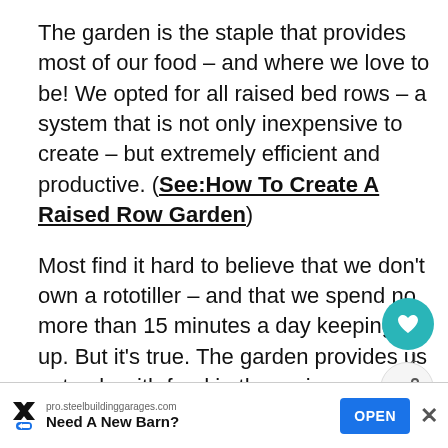The garden is the staple that provides most of our food – and where we love to be!  We opted for all raised bed rows – a system that is not only inexpensive to create – but extremely efficient and productive.  (See:How To Create A Raised Row Garden)
Most find it hard to believe that we don't own a rototiller – and that we spend no more than 15 minutes a day keeping it up.  But it's true.  The garden provides us not only with food in the spring, summer and fall – but is the basis for all of our preserving to...
[Figure (screenshot): UI overlay showing heart/save button (teal circle with heart icon), share button (grey circle with share icon), count label '1', and a WHAT'S NEXT panel showing a flower image with text 'Gardening, Fresh Food...']
[Figure (screenshot): Advertisement bar at bottom: pro.steelbuildinggarages.com 'Need A New Barn?' with blue OPEN button and close X]